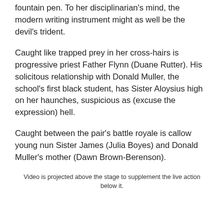fountain pen. To her disciplinarian's mind, the modern writing instrument might as well be the devil's trident.
Caught like trapped prey in her cross-hairs is progressive priest Father Flynn (Duane Rutter). His solicitous relationship with Donald Muller, the school's first black student, has Sister Aloysius high on her haunches, suspicious as (excuse the expression) hell.
Caught between the pair's battle royale is callow young nun Sister James (Julia Boyes) and Donald Muller's mother (Dawn Brown-Berenson).
Video is projected above the stage to supplement the live action below it.